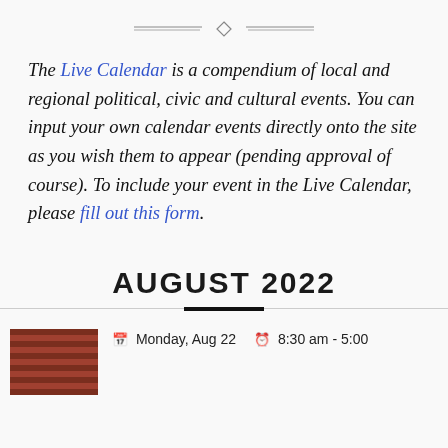[Figure (illustration): Decorative horizontal divider with diamond/ornament shape in center and double lines on either side]
The Live Calendar is a compendium of local and regional political, civic and cultural events. You can input your own calendar events directly onto the site as you wish them to appear (pending approval of course). To include your event in the Live Calendar, please fill out this form.
AUGUST 2022
Monday, Aug 22   8:30 am - 5:00